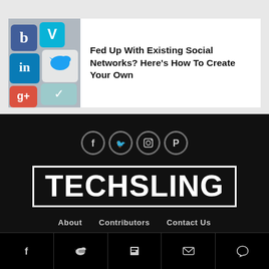[Figure (photo): Colorful social media logo cubes including LinkedIn, Twitter, Google+, and others stacked together]
Fed Up With Existing Social Networks? Here's How To Create Your Own
[Figure (logo): Social media circular icons for Facebook, Twitter, Instagram, and Pinterest]
[Figure (logo): TECHSLING logo in white bold text inside a white border rectangle on black background]
About   Contributors   Contact Us
[Figure (infographic): Bottom bar with icons for Facebook, Twitter, Flipboard, Email, and Comment]